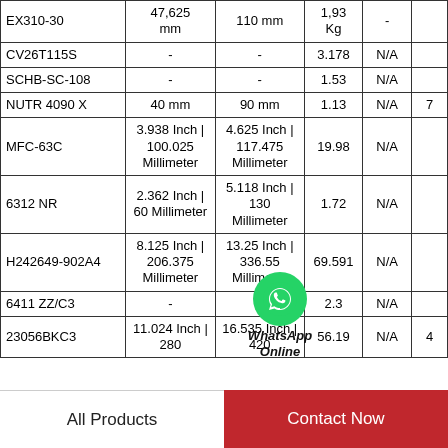| Part Number | Inner Diameter | Outer Diameter | Weight | Col5 | Col6 |
| --- | --- | --- | --- | --- | --- |
| EX310-30 | 47,625 mm | 110 mm | 1,93 Kg | - |  |
| CV26T115S | - | - | 3.178 | N/A |  |
| SCHB-SC-108 | - | - | 1.53 | N/A |  |
| NUTR 4090 X | 40 mm | 90 mm | 1.13 | N/A | 7 |
| MFC-63C | 3.938 Inch | 100.025 Millimeter | 4.625 Inch | 117.475 Millimeter | 19.98 | N/A |  |
| 6312 NR | 2.362 Inch | 60 Millimeter | 5.118 Inch | 130 Millimeter | 1.72 | N/A |  |
| H242649-902A4 | 8.125 Inch | 206.375 Millimeter | 13.25 Inch | 336.55 Millimeter | 69.591 | N/A |  |
| 6411 ZZ/C3 | - | - | 2.3 | N/A |  |
| 23056BKC3 | 11.024 Inch | 280 | 16.535 Inch | 420 | 56.19 | N/A | 4 |
[Figure (other): WhatsApp Online button overlay with green circle icon and italic text 'WhatsApp Online']
All Products
Contact Now